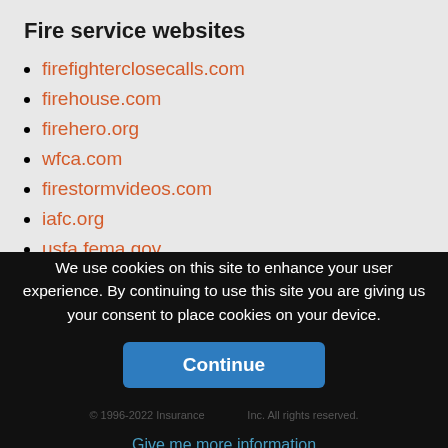Fire service websites
firefighterclosecalls.com
firehouse.com
firehero.org
wfca.com
firestormvideos.com
iafc.org
usfa.fema.gov
Fire protection technology
Explore the latest research and special studies
We use cookies on this site to enhance your user experience. By continuing to use this site you are giving us your consent to place cookies on your device.
Continue
© 1996-2022 Insurance... Inc. All rights reserved.
Give me more information